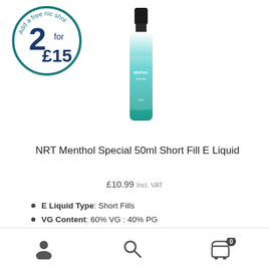[Figure (illustration): Circular teal-bordered badge with text '2 for £15' and curved text 'Add a free nic shot' around the top]
[Figure (photo): Product bottle: NRT Menthol Special 50ml Short Fill E Liquid — a tall slim bottle with teal/mint gradient label and black cap]
NRT Menthol Special 50ml Short Fill E Liquid
£10.99 Incl. VAT
E Liquid Type: Short Fills
VG Content: 60% VG : 40% PG
Bottle Size: 50ml / 60ml
Nicotine Strength: 0mg / 3mg